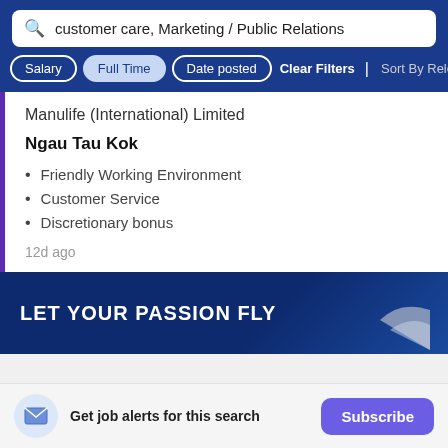customer care, Marketing / Public Relations
Salary | Full Time | Date posted | Clear Filters | Sort By Rele...
Manulife (International) Limited
Ngau Tau Kok
Friendly Working Environment
Customer Service
Discretionary bonus
12d ago
[Figure (screenshot): LET YOUR PASSION FLY ad banner with dark blue background and partial airplane wing graphic]
Get job alerts for this search
Subscribe